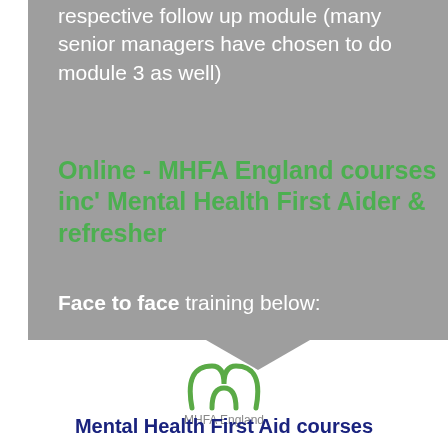respective follow up module (many senior managers have chosen to do module 3 as well)
Online - MHFA England courses inc' Mental Health First Aider & refresher
Face to face training below:
[Figure (logo): Zoom logo — blue camera icon with 'zoom' text in blue on white rounded rectangle background]
[Figure (logo): MHFA England logo — two overlapping arch shapes in green with 'MHFA England' text below]
Mental Health First Aid courses